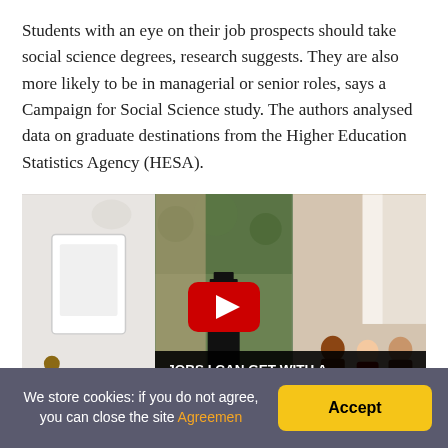Students with an eye on their job prospects should take social science degrees, research suggests. They are also more likely to be in managerial or senior roles, says a Campaign for Social Science study. The authors analysed data on graduate destinations from the Higher Education Statistics Agency (HESA).
[Figure (screenshot): YouTube video thumbnail showing three panels: left panel with a notebook/tablet, center panel showing a graduate in cap and gown outdoors, right panel showing people in a meeting. A red YouTube play button overlay is centered. Black title bar reads: JOBS I CAN GET WITH A SOCIAL SCIENCE OR HUMANITIES DEGREE]
We store cookies: if you do not agree, you can close the site Agreemen